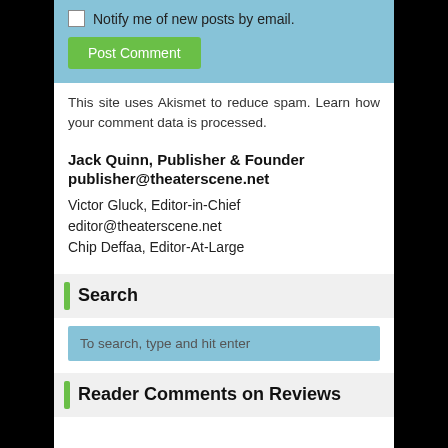Notify me of new posts by email.
Post Comment
This site uses Akismet to reduce spam. Learn how your comment data is processed.
Jack Quinn, Publisher & Founder
publisher@theaterscene.net
Victor Gluck, Editor-in-Chief
editor@theaterscene.net
Chip Deffaa, Editor-At-Large
Search
To search, type and hit enter
Reader Comments on Reviews